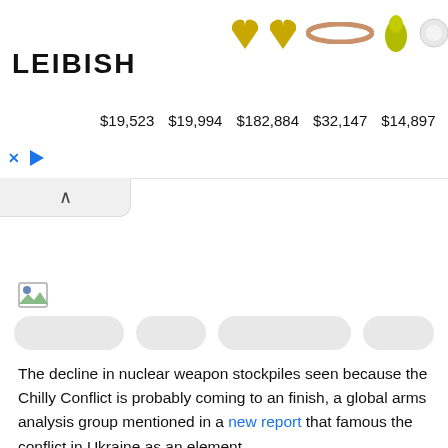[Figure (screenshot): Leibish jewelry advertisement banner showing yellow heart-shaped earrings, rose gold ring, green pear-shaped gem, two round diamonds, and a blue sapphire with prices: $19,523 $19,994 $182,884 $32,147 $14,897]
The decline in nuclear weapon stockpiles seen because the Chilly Conflict is probably coming to an finish, a global arms analysis group mentioned in a new report that famous the conflict in Ukraine as an element.
Launched Monday, the annual report from the Stockholm Worldwide Peace Analysis Institute mentioned that though